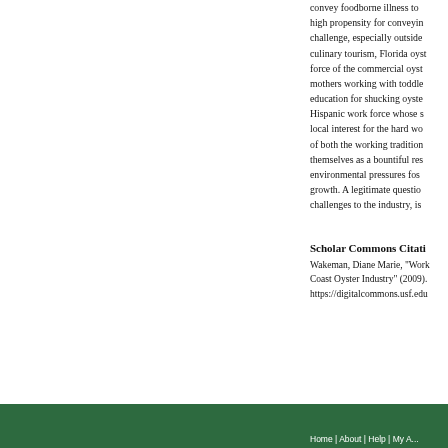convey foodborne illness to high propensity for conveying challenge, especially outside culinary tourism, Florida oysters force of the commercial oyster mothers working with toddlers education for shucking oysters Hispanic work force whose s local interest for the hard working of both the working tradition themselves as a bountiful resource environmental pressures fostering growth. A legitimate question challenges to the industry, is
Scholar Commons Citation
Wakeman, Diane Marie, "Working Coast Oyster Industry" (2009). https://digitalcommons.usf.edu
Home | About | Help | My Account